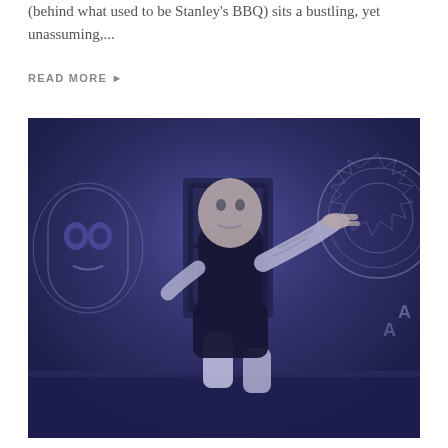(behind what used to be Stanley's BBQ) sits a bustling, yet unassuming,...
READ MORE ▶
[Figure (photo): A tattooed male performer on stage wearing a black sleeveless shirt and shorts, crouching and pointing toward the camera against a backdrop with skull and gear imagery, lit with blue/purple stage lighting.]